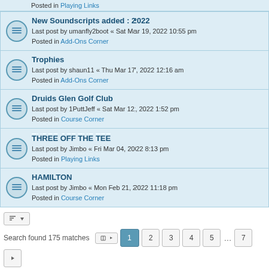Posted in Playing Links
New Soundscripts added : 2022 — Last post by umanfly2boot « Sat Mar 19, 2022 10:55 pm — Posted in Add-Ons Corner
Trophies — Last post by shaun11 « Thu Mar 17, 2022 12:16 am — Posted in Add-Ons Corner
Druids Glen Golf Club — Last post by 1PuttJeff « Sat Mar 12, 2022 1:52 pm — Posted in Course Corner
THREE OFF THE TEE — Last post by Jimbo « Fri Mar 04, 2022 8:13 pm — Posted in Playing Links
HAMILTON — Last post by Jimbo « Mon Feb 21, 2022 11:18 pm — Posted in Course Corner
Search found 175 matches — Page 1 of 7
Jump to
Board index   Delete cookies   All times are UTC
Powered by phpBB® Forum Software © phpBB Limited